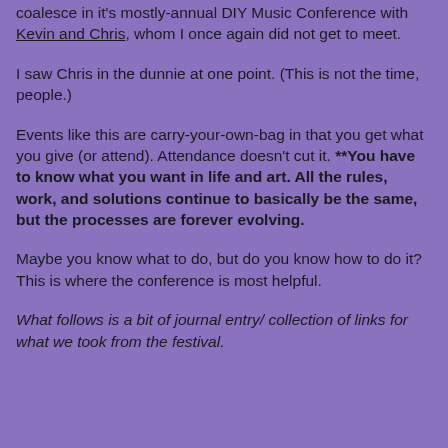coalesce in it's mostly-annual DIY Music Conference with Kevin and Chris, whom I once again did not get to meet.
I saw Chris in the dunnie at one point. (This is not the time, people.)
Events like this are carry-your-own-bag in that you get what you give (or attend). Attendance doesn't cut it. **You have to know what you want in life and art. All the rules, work, and solutions continue to basically be the same, but the processes are forever evolving.
Maybe you know what to do, but do you know how to do it? This is where the conference is most helpful.
What follows is a bit of journal entry/ collection of links for what we took from the festival.